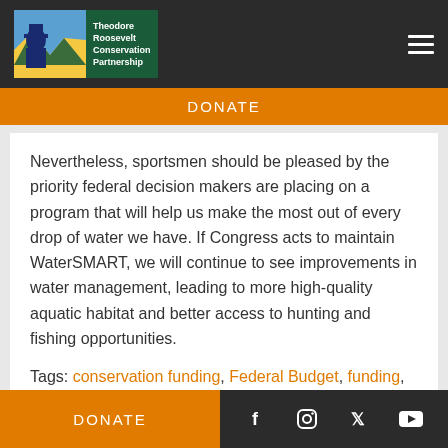[Figure (logo): Theodore Roosevelt Conservation Partnership logo with illustration and green text background]
DONATE
Nevertheless, sportsmen should be pleased by the priority federal decision makers are placing on a program that will help us make the most out of every drop of water we have. If Congress acts to maintain WaterSMART, we will continue to see improvements in water management, leading to more high-quality aquatic habitat and better access to hunting and fishing opportunities.
Tags: conservation funding, Federal Budget, funding, Water, WaterSMART
DONATE